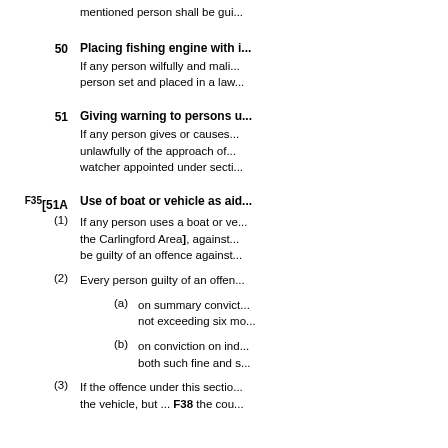mentioned person shall be gui...
50   Placing fishing engine with i...
If any person wilfully and mali... person set and placed in a law...
51   Giving warning to persons u...
If any person gives or causes... unlawfully of the approach of... watcher appointed under secti...
F35[51A   Use of boat or vehicle as aid...
(1) If any person uses a boat or ve... the Carlingford Area], against... be guilty of an offence against...
(2) Every person guilty of an offen...
(a) on summary convict... not exceeding six mo...
(b) on conviction on ind... both such fine and s...
(3) If the offence under this sectio... the vehicle, but ... F38 the cou...